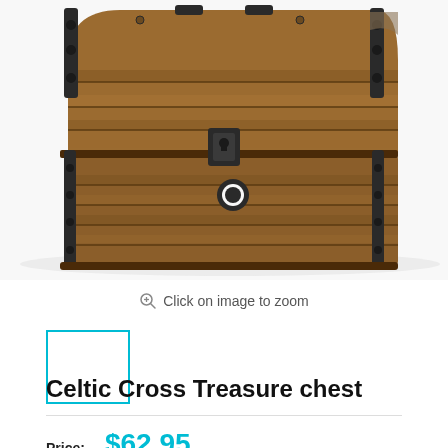[Figure (photo): A wooden Celtic Cross treasure chest with black metal hardware, latch, and ring pull on the front, photographed on a white background from a slightly elevated angle.]
Click on image to zoom
[Figure (photo): Small thumbnail image of the wooden treasure chest, shown in a cyan/teal border selection box.]
Celtic Cross Treasure chest
Price: $62.95